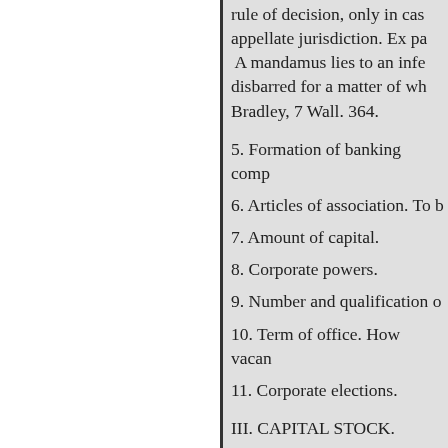rule of decision, only in cas appellate jurisdiction. Ex pa A mandamus lies to an infe disbarred for a matter of wh Bradley, 7 Wall. 364.
5. Formation of banking comp
6. Articles of association. To b
7. Amount of capital.
8. Corporate powers.
9. Number and qualification o
10. Term of office. How vacan
11. Corporate elections.
III. CAPITAL STOCK.
12. Division of capital stock. Tra withhold certificate. 13. Power te
15. Stock of delinquents to be fo
16. Deposit of United States bon